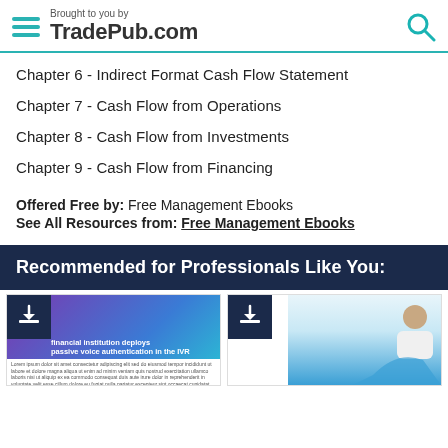Brought to you by TradePub.com
Chapter 6 - Indirect Format Cash Flow Statement
Chapter 7 - Cash Flow from Operations
Chapter 8 - Cash Flow from Investments
Chapter 9 - Cash Flow from Financing
Offered Free by: Free Management Ebooks
See All Resources from: Free Management Ebooks
Recommended for Professionals Like You:
[Figure (screenshot): Thumbnail of a report about financial institution deploying passive voice authentication in the IVR, showing statistics 79%, 80%, 82%]
[Figure (screenshot): Thumbnail of a report with a person sitting on a couch, with a blue wave design element]